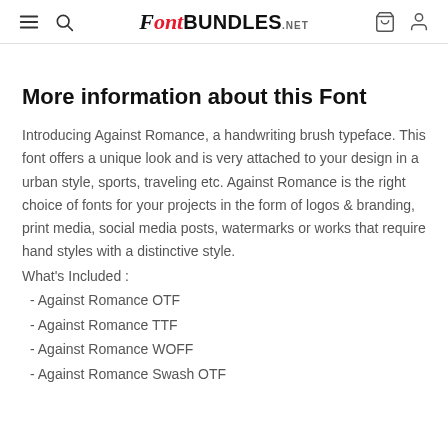FontBundles.net
More information about this Font
Introducing Against Romance, a handwriting brush typeface. This font offers a unique look and is very attached to your design in a urban style, sports, traveling etc. Against Romance is the right choice of fonts for your projects in the form of logos &amp; branding, print media, social media posts, watermarks or works that require hand styles with a distinctive style.
What's Included :
- Against Romance OTF
- Against Romance TTF
- Against Romance WOFF
- Against Romance Swash OTF